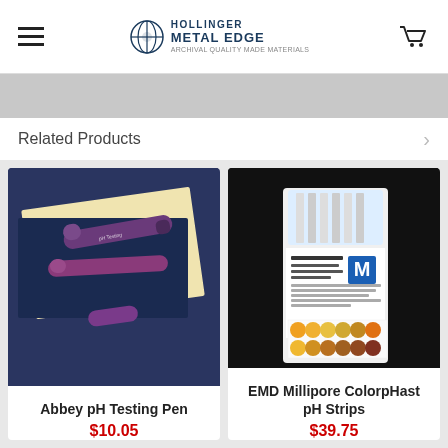Hollinger Metal Edge - navigation header with hamburger menu and cart
Related Products
[Figure (photo): Abbey pH Testing Pen product photo showing two purple marker pens on a dark blue surface with a yellow/cream paper]
Abbey pH Testing Pen
$10.05
[Figure (photo): EMD Millipore ColorpHast pH Strips product photo showing a package of pH test strips with color chart on black background]
EMD Millipore ColorpHast pH Strips
$39.75